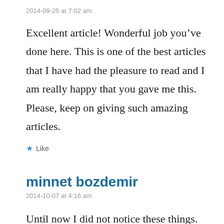2014-09-25 at 7:02 am
Excellent article! Wonderful job you’ve done here. This is one of the best articles that I have had the pleasure to read and I am really happy that you gave me this. Please, keep on giving such amazing articles.
★ Like
minnet bozdemir
2014-10-07 at 4:16 am
Until now I did not notice these things. I’m glad you’ve mentioned. I understand what you mean. I